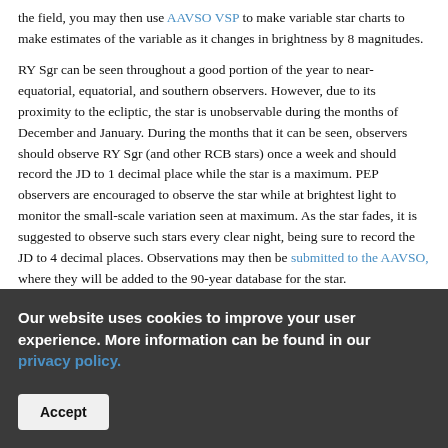the field, you may then use AAVSO VSP to make variable star charts to make estimates of the variable as it changes in brightness by 8 magnitudes.
RY Sgr can be seen throughout a good portion of the year to near-equatorial, equatorial, and southern observers. However, due to its proximity to the ecliptic, the star is unobservable during the months of December and January. During the months that it can be seen, observers should observe RY Sgr (and other RCB stars) once a week and should record the JD to 1 decimal place while the star is a maximum. PEP observers are encouraged to observe the star while at brightest light to monitor the small-scale variation seen at maximum. As the star fades, it is suggested to observe such stars every clear night, being sure to record the JD to 4 decimal places. Observations may then be submitted to the AAVSO, where they will be added to the 90-year database for the star.
Our website uses cookies to improve your user experience. More information can be found in our privacy policy.
Accept